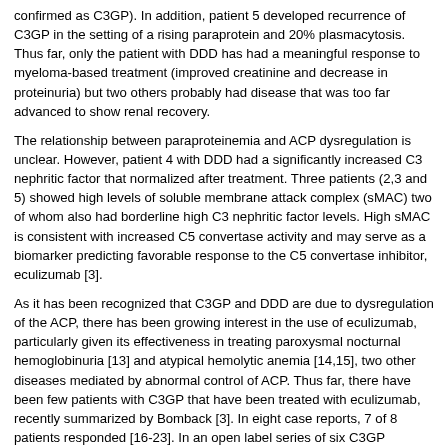confirmed as C3GP). In addition, patient 5 developed recurrence of C3GP in the setting of a rising paraprotein and 20% plasmacytosis. Thus far, only the patient with DDD has had a meaningful response to myeloma-based treatment (improved creatinine and decrease in proteinuria) but two others probably had disease that was too far advanced to show renal recovery.
The relationship between paraproteinemia and ACP dysregulation is unclear. However, patient 4 with DDD had a significantly increased C3 nephritic factor that normalized after treatment. Three patients (2,3 and 5) showed high levels of soluble membrane attack complex (sMAC) two of whom also had borderline high C3 nephritic factor levels. High sMAC is consistent with increased C5 convertase activity and may serve as a biomarker predicting favorable response to the C5 convertase inhibitor, eculizumab [3].
As it has been recognized that C3GP and DDD are due to dysregulation of the ACP, there has been growing interest in the use of eculizumab, particularly given its effectiveness in treating paroxysmal nocturnal hemoglobinuria [13] and atypical hemolytic anemia [14,15], two other diseases mediated by abnormal control of ACP. Thus far, there have been few patients with C3GP that have been treated with eculizumab, recently summarized by Bomback [3]. In eight case reports, 7 of 8 patients responded [16-23]. In an open label series of six C3GP patients (3 patients had DDD), clinical and/or pathologic improvement was seen in 4 patients, but two patients experienced worsening disease. These findings indicate that eculizumab might not be appropriate for all patients with C3GP [24,25]. Importantly, the sMAC normalized in all patients who had elevations before eculizumab therapy and the two patients who had worsening renal function had normal sMAC levels before treatment (Figure 1).